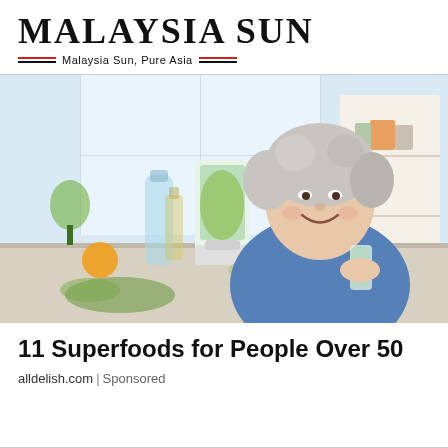[Figure (logo): Malaysia Sun newspaper logo with stylized uppercase serif text 'MALAYSIA SUN' and tagline 'Malaysia Sun, Pure Asia' flanked by red and black horizontal lines]
[Figure (photo): Elderly woman with short grey hair smiling at camera, sitting at a kitchen table holding a glass of green smoothie, with a blender, water bottle, and kitchen items in the background]
11 Superfoods for People Over 50
alldelish.com | Sponsored